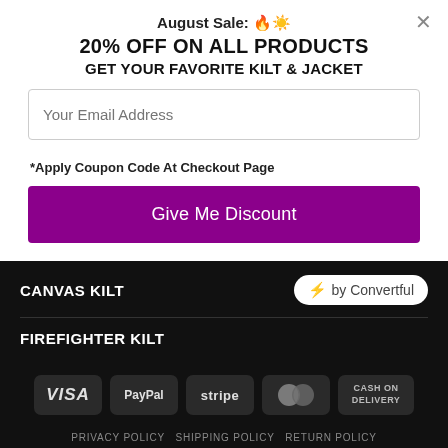August Sale: 🔥☀️
20% OFF ON ALL PRODUCTS
GET YOUR FAVORITE KILT & JACKET
Your Email Address
*Apply Coupon Code At Checkout Page
Give Me Discount
CANVAS KILT
[Figure (logo): ⚡ by Convertful badge]
FIREFIGHTER KILT
[Figure (infographic): Payment method badges: VISA, PayPal, stripe, MasterCard, CASH ON DELIVERY]
PRIVACY POLICY   SHIPPING POLICY   RETURN POLICY   MEASURING GUIDE   CARE INSTRUCTIONS   TERMS AND CONDITION